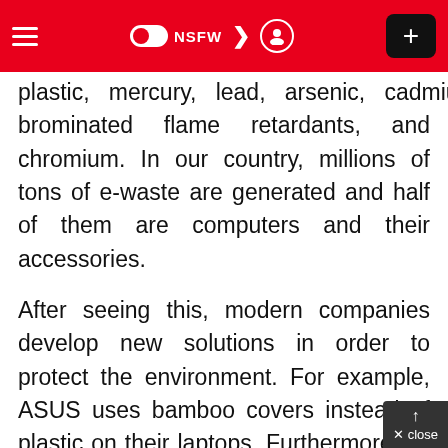≡ NSFW ☽ ⊙ +
plastic, mercury, lead, arsenic, cadmium, brominated flame retardants, and chromium. In our country, millions of tons of e-waste are generated and half of them are computers and their accessories.
After seeing this, modern companies develop new solutions in order to protect the environment. For example, ASUS uses bamboo covers instead of plastic on their laptops. Furthermore, all their laptops have good ratings in terms of energy efficiency. Dell Studio Hybrid designs compact desktops that are 80% smaller and use 70% less energy.